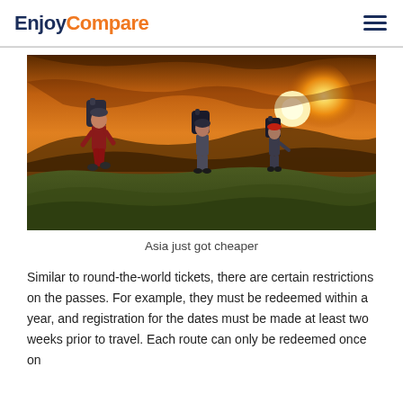EnjoyCompare
[Figure (photo): Three hikers with backpacks walking along a rocky mountain ridge at sunset, with a golden sky and mountains in the background.]
Asia just got cheaper
Similar to round-the-world tickets, there are certain restrictions on the passes. For example, they must be redeemed within a year, and registration for the dates must be made at least two weeks prior to travel. Each route can only be redeemed once on